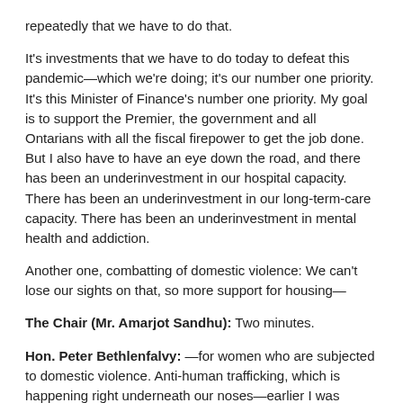repeatedly that we have to do that.
It's investments that we have to do today to defeat this pandemic—which we're doing; it's our number one priority. It's this Minister of Finance's number one priority. My goal is to support the Premier, the government and all Ontarians with all the fiscal firepower to get the job done. But I also have to have an eye down the road, and there has been an underinvestment in our hospital capacity. There has been an underinvestment in our long-term-care capacity. There has been an underinvestment in mental health and addiction.
Another one, combatting of domestic violence: We can't lose our sights on that, so more support for housing—
The Chair (Mr. Amarjot Sandhu): Two minutes.
Hon. Peter Bethlenfalvy: —for women who are subjected to domestic violence. Anti-human trafficking, which is happening right underneath our noses—earlier I was asked